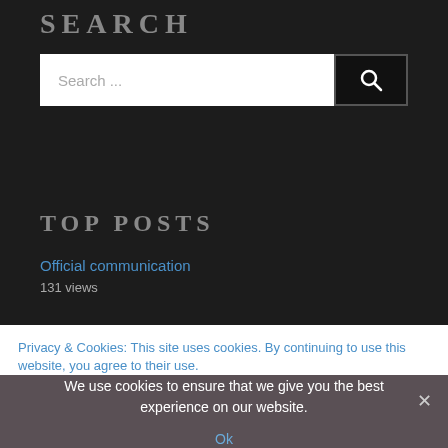SEARCH
[Figure (screenshot): Search bar with text input showing 'Search ...' and a dark search button with magnifying glass icon]
TOP POSTS
Official communication
131 views
Privacy & Cookies: This site uses cookies. By continuing to use this website, you agree to their use.
We use cookies to ensure that we give you the best experience on our website.
Ok